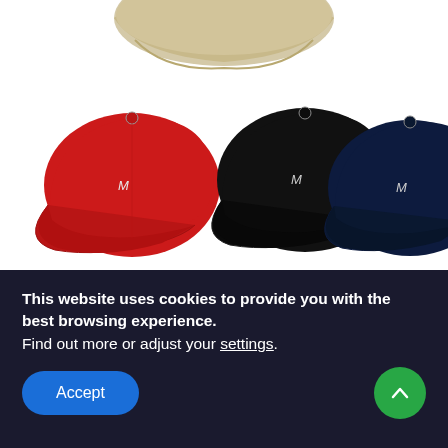[Figure (photo): Beige baseball cap partially visible at top, and three baseball caps (red, black, dark navy) arranged in a row, each with an embroidered 'M' logo]
Sporting a baseball cap isn't just for baseball, see for caps for men. There are caps available for men of all ages and professions. Some caps are worn to protect a wearer's hair from the sun, while others are not just for style; on the
This website uses cookies to provide you with the best browsing experience.
Find out more or adjust your settings.
Accept